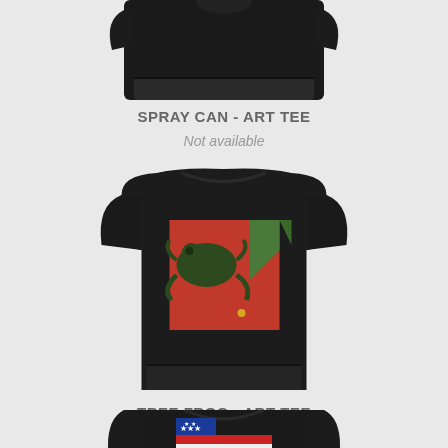[Figure (photo): Black t-shirt folded, partially cropped at top of page]
SPRAY CAN - ART TEE
Not available
[Figure (photo): Black t-shirt displayed flat showing a graphic art print of a tree frog on a red background]
TREE FROG - ART TEE
Not available
[Figure (photo): Black t-shirt partially cropped at bottom of page, showing red white and blue patriotic design with stars and stripes]